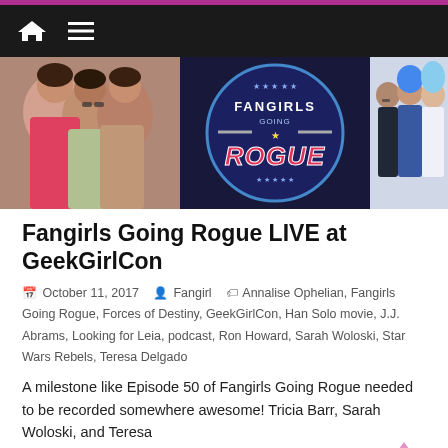Navigation bar with home and menu icons
[Figure (photo): Banner image for Fangirls Going Rogue podcast: left side shows three women hugging, center shows the Fangirls Going Rogue podcast logo (circular logo with text and stylized guns), right side shows three women in cosplay/convention attire]
Fangirls Going Rogue LIVE at GeekGirlCon
October 11, 2017  Fangirl  Annalise Ophelian, Fangirls Going Rogue, Forces of Destiny, GeekGirlCon, Han Solo movie, J.J. Abrams, Looking for Leia, podcast, Ron Howard, Sarah Woloski, Star Wars Rebels, Teresa Delgado
A milestone like Episode 50 of Fangirls Going Rogue needed to be recorded somewhere awesome! Tricia Barr, Sarah Woloski, and Teresa
Read more